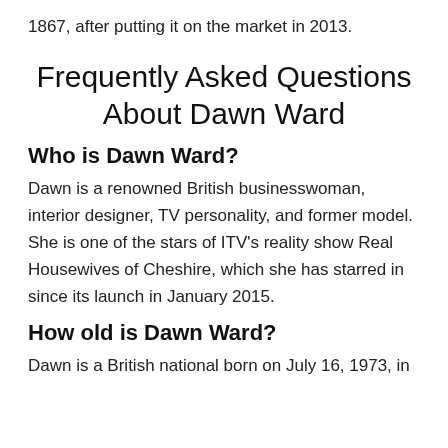1867, after putting it on the market in 2013.
Frequently Asked Questions About Dawn Ward
Who is Dawn Ward?
Dawn is a renowned British businesswoman, interior designer, TV personality, and former model. She is one of the stars of ITV's reality show Real Housewives of Cheshire, which she has starred in since its launch in January 2015.
How old is Dawn Ward?
Dawn is a British national born on July 16, 1973, in